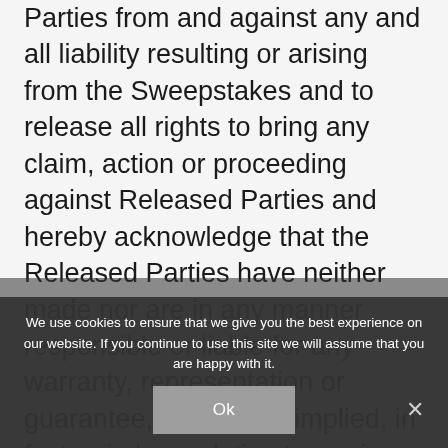Parties from and against any and all liability resulting or arising from the Sweepstakes and to release all rights to bring any claim, action or proceeding against Released Parties and hereby acknowledge that the Released Parties have neither made nor are in any manner responsible or liable for any warranty, representation or guarantee, express or implied, in fact or in law, relative to a prize, including express warranties provided exclusively by a prize supplier that may be sent along with a prize. The Released Parties are not responsible for any changes or unavailability of the social media platform used for purposes of administering this Sweepstakes that may interfere with the Sweepstakes (including any limitations, any
We use cookies to ensure that we give you the best experience on our website. If you continue to use this site we will assume that you are happy with it.